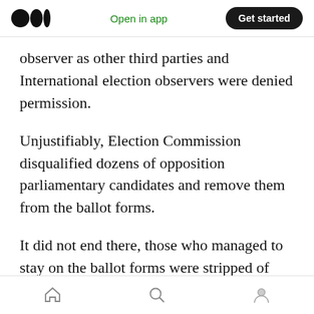Medium logo | Open in app | Get started
observer as other third parties and International election observers were denied permission.
Unjustifiably, Election Commission disqualified dozens of opposition parliamentary candidates and remove them from the ballot forms.
It did not end there, those who managed to stay on the ballot forms were stripped of their victories and replaced by the CCM party candidates.
By all accounts, the 2020 presidential elections
Home | Search | Profile